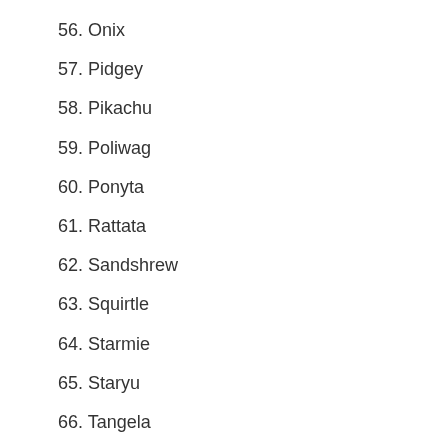56. Onix
57. Pidgey
58. Pikachu
59. Poliwag
60. Ponyta
61. Rattata
62. Sandshrew
63. Squirtle
64. Starmie
65. Staryu
66. Tangela
67. Voltorb